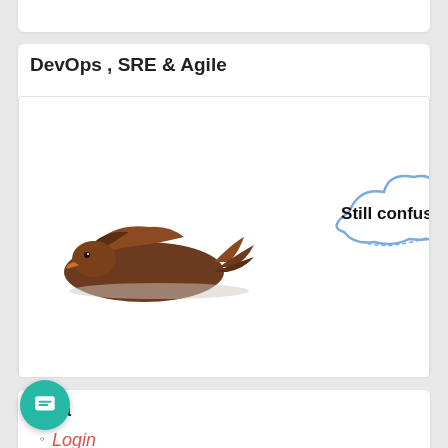DevOps , SRE & Agile
[Figure (illustration): An illustration showing a cartoon brown bird/duck lying down on the left, with a blue cloud speech bubble on the right containing the text 'Still confused?']
Meta
Login